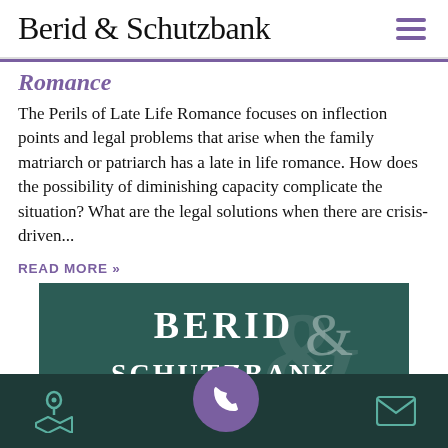Berid & Schutzbank
Romance
The Perils of Late Life Romance focuses on inflection points and legal problems that arise when the family matriarch or patriarch has a late in life romance. How does the possibility of diminishing capacity complicate the situation? What are the legal solutions when there are crisis-driven...
READ MORE »
[Figure (logo): Berid & Schutzbank law firm logo in white text on dark teal/green background with large decorative ampersand]
Navigation bar with map, phone, and email icons on dark teal background